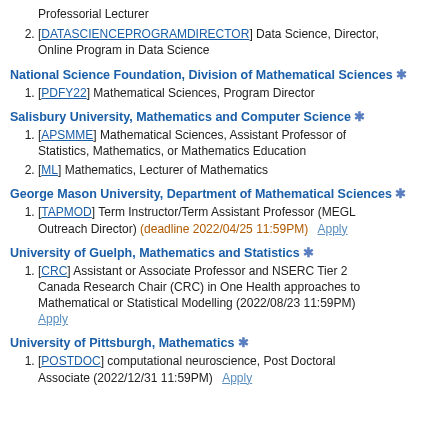Professorial Lecturer
[DATASCIENCEPROGRAMDIRECTOR] Data Science, Director, Online Program in Data Science
National Science Foundation, Division of Mathematical Sciences *
[PDFY22] Mathematical Sciences, Program Director
Salisbury University, Mathematics and Computer Science *
[APSMME] Mathematical Sciences, Assistant Professor of Statistics, Mathematics, or Mathematics Education
[ML] Mathematics, Lecturer of Mathematics
George Mason University, Department of Mathematical Sciences *
[TAPMOD] Term Instructor/Term Assistant Professor (MEGL Outreach Director) (deadline 2022/04/25 11:59PM)   Apply
University of Guelph, Mathematics and Statistics *
[CRC] Assistant or Associate Professor and NSERC Tier 2 Canada Research Chair (CRC) in One Health approaches to Mathematical or Statistical Modelling (2022/08/23 11:59PM) Apply
University of Pittsburgh, Mathematics *
[POSTDOC] computational neuroscience, Post Doctoral Associate (2022/12/31 11:59PM)   Apply